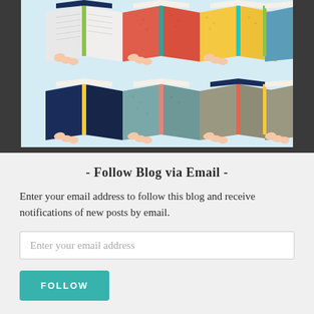[Figure (illustration): Illustration of 8 open books arranged in a 2x4 grid on a light blue background. Top row: white/grey book with green spine, red-orange book with teal spine, yellow book with teal spine, teal/blue book with green spine. Bottom row: dark navy book with yellow spine, teal-grey book with pink spine, grey book with coral spine, grey book with yellow spine. All books shown open with pages fanned out.]
- Follow Blog via Email -
Enter your email address to follow this blog and receive notifications of new posts by email.
Enter your email address
FOLLOW